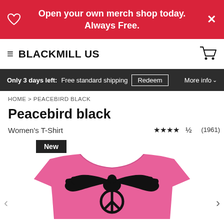Open your own merch shop today. Always Free.
BLACKMILL US
Only 3 days left: Free standard shipping  Redeem  More info
HOME > PEACEBIRD BLACK
Peacebird black
Women's T-Shirt
★★★★½ (1961)
New
[Figure (photo): Pink women's t-shirt with a black peace dove design (bird with wings spread forming a peace symbol) printed on the front.]